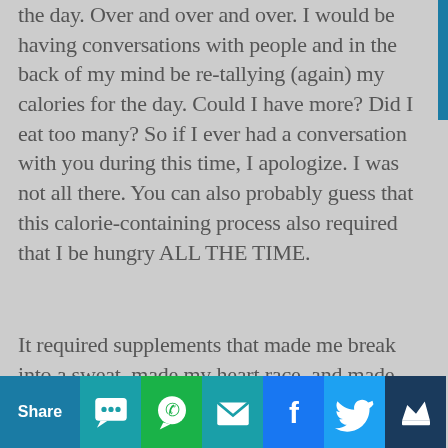the day. Over and over and over. I would be having conversations with people and in the back of my mind be re-tallying (again) my calories for the day. Could I have more? Did I eat too many? So if I ever had a conversation with you during this time, I apologize. I was not all there. You can also probably guess that this calorie-containing process also required that I be hungry ALL THE TIME.
It required supplements that made me break into a sweat, made my heart race, and made me feel like I was going to puke. This actually got kind of scary. Fortunately, there was some wise place in me that started to scream, "Why the heck are you doing to yourself? Is th... th a... at-a...??" ...act